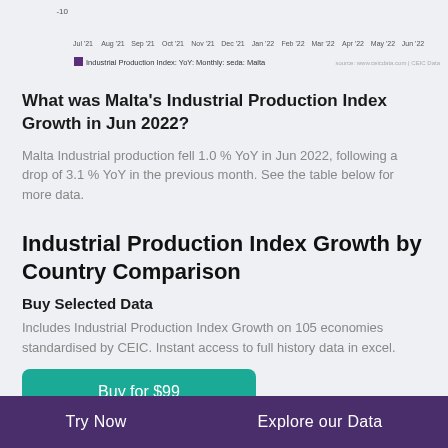[Figure (continuous-plot): Line chart showing Industrial Production Index: YoY: Monthly: seda: Malta from Jul '21 to Jun '22. Y-axis shows -10 at top visible tick. X-axis labels: Jul '21, Aug '21, Sep '21, Oct '21, Nov '21, Dec '21, Jan '22, Feb '22, Mar '22, Apr '22, May '22, Jun '22.]
What was Malta's Industrial Production Index Growth in Jun 2022?
Malta Industrial production fell 1.0 % YoY in Jun 2022, following a drop of 3.1 % YoY in the previous month. See the table below for more data.
Industrial Production Index Growth by Country Comparison
Buy Selected Data
Includes Industrial Production Index Growth on 105 economies standardised by CEIC. Instant access to full history data in excel.
Buy for $99
Try Now    Explore our Data